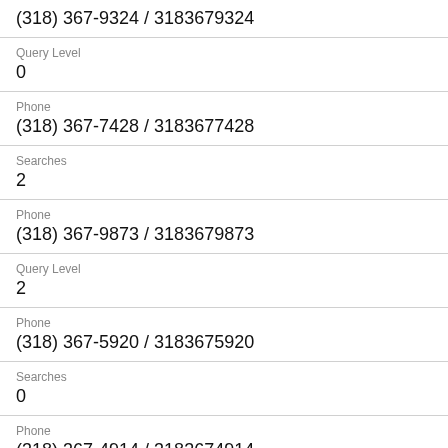(318) 367-9324 / 3183679324
Query Level
0
Phone
(318) 367-7428 / 3183677428
Searches
2
Phone
(318) 367-9873 / 3183679873
Query Level
2
Phone
(318) 367-5920 / 3183675920
Searches
0
Phone
(318) 367-4914 / 3183674914
Query Level
5